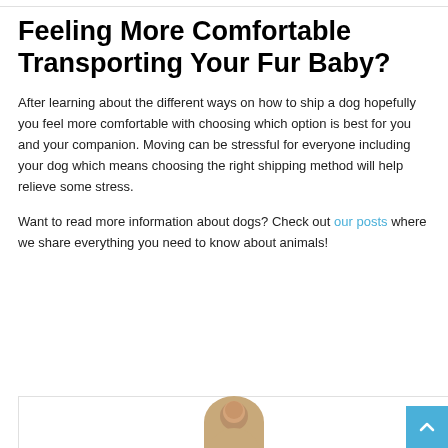Feeling More Comfortable Transporting Your Fur Baby?
After learning about the different ways on how to ship a dog hopefully you feel more comfortable with choosing which option is best for you and your companion. Moving can be stressful for everyone including your dog which means choosing the right shipping method will help relieve some stress.
Want to read more information about dogs? Check out our posts where we share everything you need to know about animals!
[Figure (photo): Bottom card area with partially visible author profile photo]